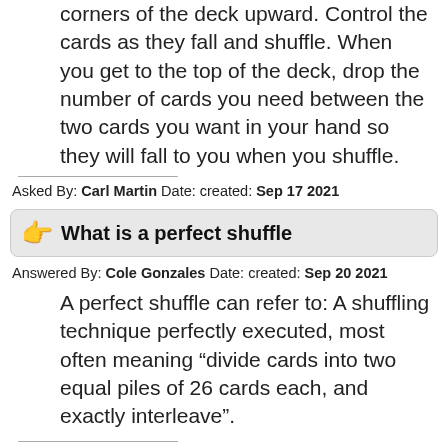corners of the deck upward. Control the cards as they fall and shuffle. When you get to the top of the deck, drop the number of cards you need between the two cards you want in your hand so they will fall to you when you shuffle.
Asked By: Carl Martin Date: created: Sep 17 2021
What is a perfect shuffle
Answered By: Cole Gonzales Date: created: Sep 20 2021
A perfect shuffle can refer to: A shuffling technique perfectly executed, most often meaning “divide cards into two equal piles of 26 cards each, and exactly interleave”.
Asked By: Blake Kelly Date: created: Jan 17 2022